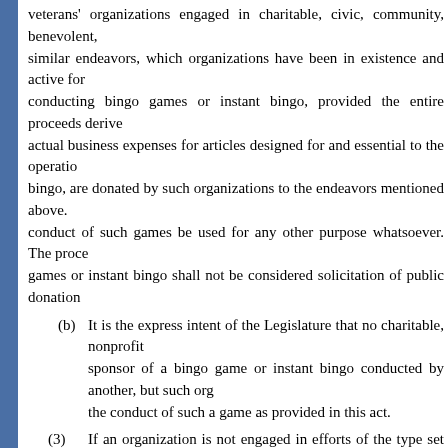veterans' organizations engaged in charitable, civic, community, benevolent, similar endeavors, which organizations have been in existence and active for conducting bingo games or instant bingo, provided the entire proceeds derive actual business expenses for articles designed for and essential to the operatio bingo, are donated by such organizations to the endeavors mentioned above. conduct of such games be used for any other purpose whatsoever. The proce games or instant bingo shall not be considered solicitation of public donation
(b) It is the express intent of the Legislature that no charitable, nonprofit sponsor of a bingo game or instant bingo conducted by another, but such org the conduct of such a game as provided in this act.
(3) If an organization is not engaged in efforts of the type set out above, is conditioned upon the return of all the proceeds from such games to the pla conclusion of play on any day during which a bingo game is allowed to be pl proceeds which have not been paid out as prizes, the organization conducting of play conduct bingo games without any charge to the players and shall con over from the previous days played have been exhausted. This provision in n of prize or jackpot games allowed in one day as provided for in subsection (5
(4) The right of a condominium association, a cooperative association, a 720.301, a mobile home owners' association, a group of residents of a mobile group of residents of a mobile home park or recreational vehicle park as defi conditioned upon the return of the net proceeds from such games to players i the actual business expenses for such games for articles designed for and ess of bingo. Any return to players in lieu of net proceeds as described above